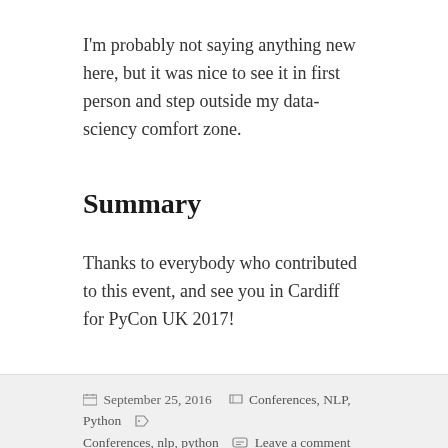I'm probably not saying anything new here, but it was nice to see it in first person and step outside my data-sciency comfort zone.
Summary
Thanks to everybody who contributed to this event, and see you in Cardiff for PyCon UK 2017!
September 25, 2016  Categories: Conferences, NLP, Python  Tags: Conferences, nlp, python  Leave a comment
Mining Twitter Data with Python (Part 6 – Sentiment Analysis Basics)